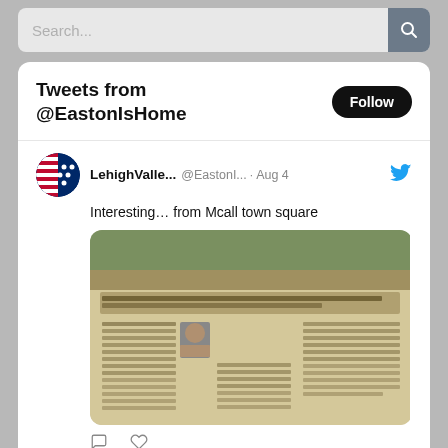[Figure (screenshot): Twitter/social media widget showing 'Tweets from @EastonIsHome' with a Follow button, two tweets from LehighValle... (@EastonI...), one dated Aug 4 with text 'Interesting… from Mcall town square' and an embedded blurry newspaper photo, and a second tweet dated Jul 30 with text 'In Conversation: Christopher Black'. Each tweet has a circular avatar with a flag design and a blue Twitter bird icon.]
Search...
Tweets from @EastonIsHome
Follow
LehighValle... @EastonI... · Aug 4
Interesting… from Mcall town square
[Figure (photo): Blurry newspaper clipping with text and a small portrait photo, shown as an embedded tweet image]
LehighValle... @EastonI... · Jul 30
In Conversation: Christopher Black